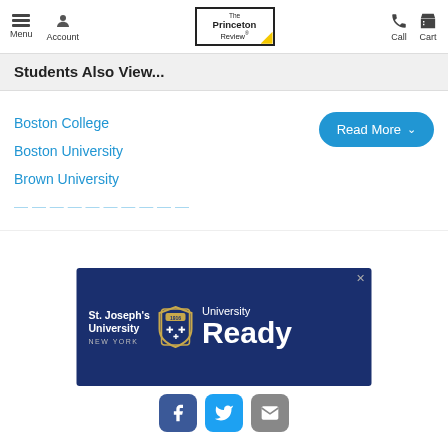Menu  Account  The Princeton Review  Call  Cart
Students Also View...
Boston College
Boston University
Brown University
[Figure (screenshot): St. Joseph's University New York - University Ready advertisement banner with dark navy background]
[Figure (infographic): Social media sharing icons: Facebook (blue square), Twitter (cyan square), Email (grey square)]